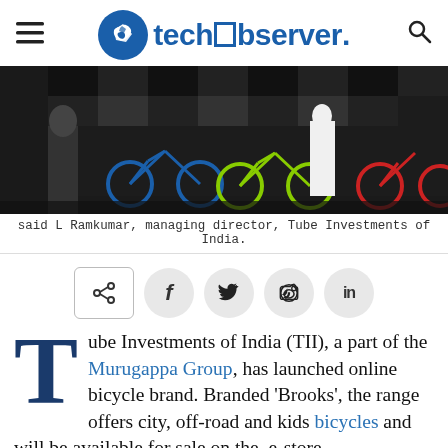techobserver.
[Figure (photo): Bicycles displayed at an event with Brooks branding banners in the background; people standing near multiple bicycles of different styles and colors.]
said L Ramkumar, managing director, Tube Investments of India.
Share buttons: share, facebook, twitter, whatsapp, linkedin
Tube Investments of India (TII), a part of the Murugappa Group, has launched online bicycle brand. Branded ‘Brooks’, the range offers city, off-road and kids bicycles and will be available for sale on the e-store, BrooksBicycle.com, said company in a statement. Brooks has been